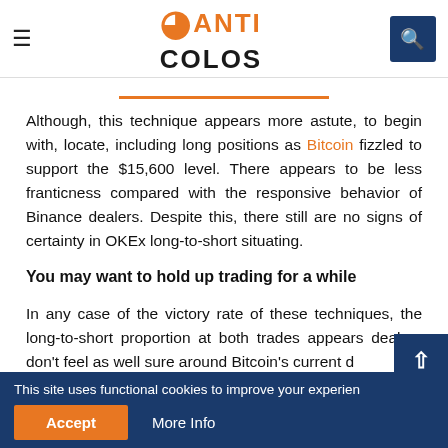ANTI COLOS
Although, this technique appears more astute, to begin with, locate, including long positions as Bitcoin fizzled to support the $15,600 level. There appears to be less franticness compared with the responsive behavior of Binance dealers. Despite this, there still are no signs of certainty in OKEx long-to-short situating.
You may want to hold up trading for a while
In any case of the victory rate of these techniques, the long-to-short proportion at both trades appears dealers don't feel as well sure around Bitcoin's current d
This site uses functional cookies to improve your experien Accept More Info